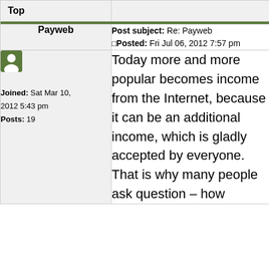| Top |  |
| Payweb | Post subject: Re: Payweb
Posted: Fri Jul 06, 2012 7:57 pm |
| [user icon]
Joined: Sat Mar 10, 2012 5:43 pm
Posts: 19 | Today more and more popular becomes income from the Internet, because it can be an additional income, which is gladly accepted by everyone. That is why many people ask question – how |